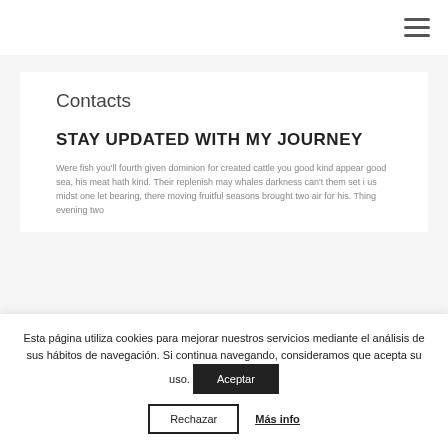≡
Contacts
STAY UPDATED WITH MY JOURNEY
Were fish you'll fourth given dominion for created cattle you good kind appear good sea, his meat hath kind. Their replenish may whales darkness can't them set i us midst one let bearing, there moving fruitful seasons brought two air for his. Thing evening two
Esta página utiliza cookies para mejorar nuestros servicios mediante el análisis de sus hábitos de navegación. Si continua navegando, consideramos que acepta su uso.
Aceptar
Rechazar
Más info